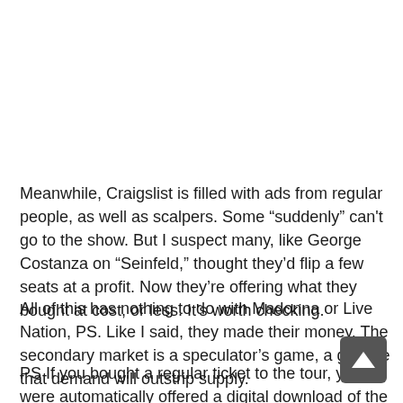Meanwhile, Craigslist is filled with ads from regular people, as well as scalpers. Some “suddenly” can't go to the show. But I suspect many, like George Costanza on “Seinfeld,” thought they’d flip a few seats at a profit. Now they’re offering what they bought at cost, or less. It's worth checking.
All of this has nothing to do with Madonna or Live Nation, PS. Like I said, they made their money. The secondary market is a speculator’s game, a gamble that demand will outstrip supply.
PS If you bought a regular ticket to the tour, you were automatically offered a digital download of the album “Rebel;